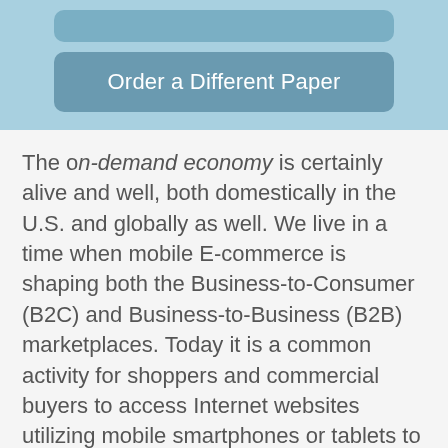[Figure (other): Blue banner area with a partially visible button at top and an 'Order a Different Paper' button below it]
The on-demand economy is certainly alive and well, both domestically in the U.S. and globally as well. We live in a time when mobile E-commerce is shaping both the Business-to-Consumer (B2C) and Business-to-Business (B2B) marketplaces. Today it is a common activity for shoppers and commercial buyers to access Internet websites utilizing mobile smartphones or tablets to purchase a product or order a service. Consumers frequently use their smart devices to conduct research as a